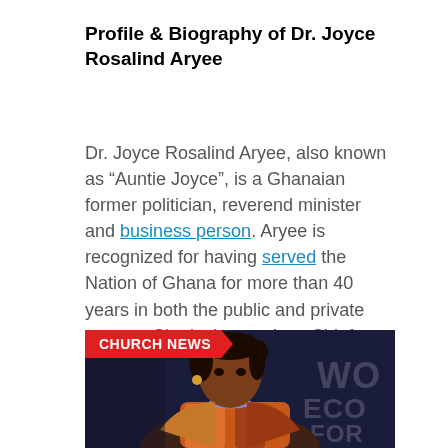Profile & Biography of Dr. Joyce Rosalind Aryee
Dr. Joyce Rosalind Aryee, also known as “Auntie Joyce”, is a Ghanaian former politician, reverend minister and business person. Aryee is recognized for having served the Nation of Ghana for more than 40 years in both the public and private sectors. She is the previous Chief Executive Officer of the Ghana Chamber of Mines and […]
[Figure (photo): Photo of Dr. Joyce Rosalind Aryee at what appears to be a World Economic Forum event, with a red 'CHURCH NEWS' badge overlaid on the top-left of the image. The background text reads 'WORLD ECONOMIC FORUM'.]